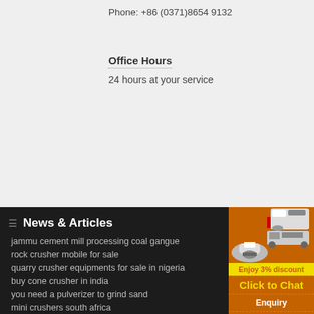Phone: +86 (0371)8654 9132
Office Hours
24 hours at your service
News & Articles
jammu cement mill processing coal gangue
rock crusher mobile for sale
quarry crusher equipments for sale in nigeria
buy cone crusher in india
you need a pulverizer to grind sand
mini crushers south africa
[Figure (illustration): Mining/crushing machinery advertisement with orange background showing three industrial crusher machines]
Enjoy 3% discount
Click to Chat
Enquiry
limingjlmofen@sina.com
Latest Product